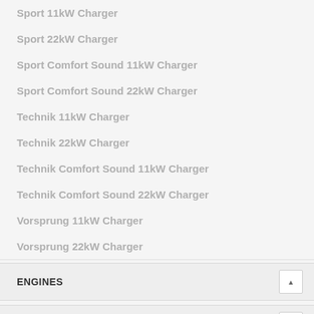Sport 11kW Charger
Sport 22kW Charger
Sport Comfort Sound 11kW Charger
Sport Comfort Sound 22kW Charger
Technik 11kW Charger
Technik 22kW Charger
Technik Comfort Sound 11kW Charger
Technik Comfort Sound 22kW Charger
Vorsprung 11kW Charger
Vorsprung 22kW Charger
ENGINES
WHEELS / DRIVE